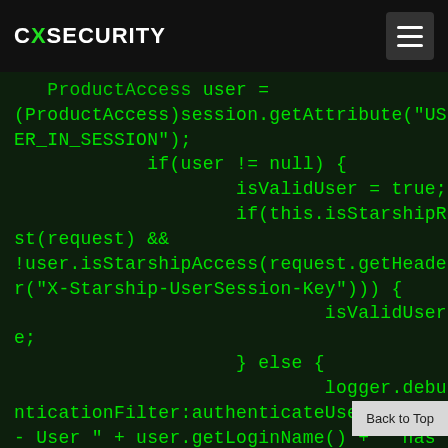CXSECURITY
ProductAccess user =
(ProductAccess)session.getAttribute("USER_IN_SESSION");
        if(user != null) {
                isValidUser = true;
                if(this.isStarshipRequest(request) &&
!user.isStarshipAccess(request.getHeader("X-Starship-UserSession-Key"))) {
                        isValidUser = false;
                } else {
                        logger.debug("AuthenticationFilter:authenticateUser - User " + user.getLoginName() + " has been previously authenticated");
                }